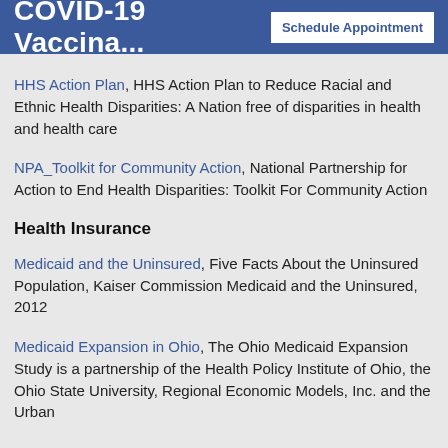COVID-19 Vaccina...
HHS Action Plan, HHS Action Plan to Reduce Racial and Ethnic Health Disparities: A Nation free of disparities in health and health care
NPA_Toolkit for Community Action, National Partnership for Action to End Health Disparities: Toolkit For Community Action
Health Insurance
Medicaid and the Uninsured, Five Facts About the Uninsured Population, Kaiser Commission Medicaid and the Uninsured, 2012
Medicaid Expansion in Ohio, The Ohio Medicaid Expansion Study is a partnership of the Health Policy Institute of Ohio, the Ohio State University, Regional Economic Models, Inc. and the Urban